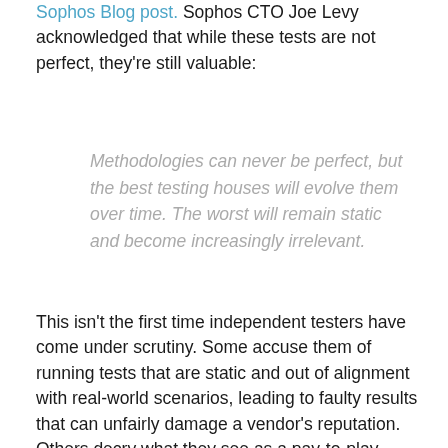Sophos Blog post. Sophos CTO Joe Levy acknowledged that while these tests are not perfect, they're still valuable:
Methodologies can never be perfect, but the best testing houses will evolve them over time. The worst will remain static and become increasingly irrelevant.
This isn't the first time independent testers have come under scrutiny. Some accuse them of running tests that are static and out of alignment with real-world scenarios, leading to faulty results that can unfairly damage a vendor's reputation. Others decry what they see as a pay-to-play atmosphere that leads to bias.